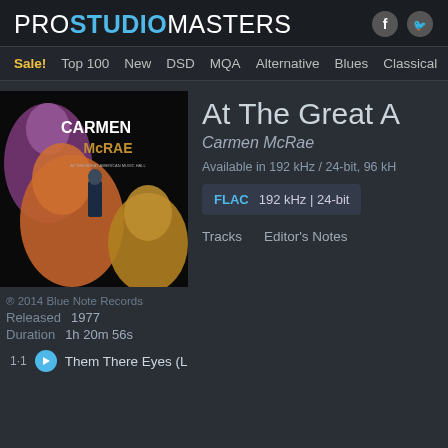PRO STUDIO MASTERS
Sale! Top 100 New DSD MQA Alternative Blues Classical Country Electu
[Figure (photo): Album cover of Carmen McRae 'At The Great American Music Hall' showing multiple artistic photo exposures of singers' faces in purple, orange, and gold tones with text 'CARMEN McRAE' on the cover]
At The Great A
Carmen McRae
Available in 192 kHz / 24-bit, 96 kH
FLAC   192 kHz | 24-bit
Tracks
Editor's Notes
® 2014 Blue Note Records
Released   1977
Duration   1h 20m 56s
1·1   Them There Eyes (L